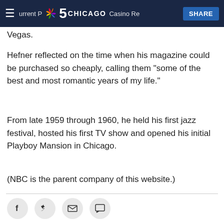NBC 5 Chicago — SHARE
Vegas.
Hefner reflected on the time when his magazine could be purchased so cheaply, calling them "some of the best and most romantic years of my life."
From late 1959 through 1960, he held his first jazz festival, hosted his first TV show and opened his initial Playboy Mansion in Chicago.
(NBC is the parent company of this website.)
[Figure (infographic): Social sharing icons: Facebook, Twitter, Email, Comment]